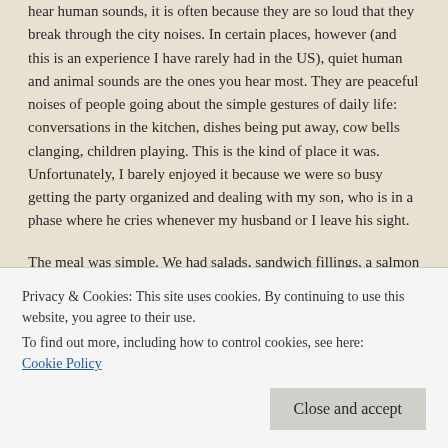hear human sounds, it is often because they are so loud that they break through the city noises. In certain places, however (and this is an experience I have rarely had in the US), quiet human and animal sounds are the ones you hear most. They are peaceful noises of people going about the simple gestures of daily life: conversations in the kitchen, dishes being put away, cow bells clanging, children playing. This is the kind of place it was. Unfortunately, I barely enjoyed it because we were so busy getting the party organized and dealing with my son, who is in a phase where he cries whenever my husband or I leave his sight.
The meal was simple. We had salads, sandwich fillings, a salmon platter, a cheese platter, and a variety of baked goods. We also ordered rolls from a boulangerie that arrived, golden and fragrant, in a cloth-covered basket. I helped open wines...
Privacy & Cookies: This site uses cookies. By continuing to use this website, you agree to their use.
To find out more, including how to control cookies, see here: Cookie Policy